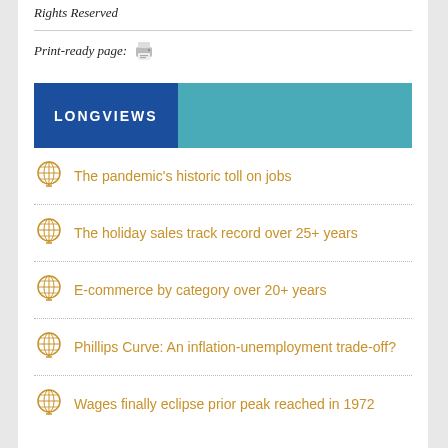Rights Reserved
Print-ready page:
LONGVIEWS
The pandemic's historic toll on jobs
The holiday sales track record over 25+ years
E-commerce by category over 20+ years
Phillips Curve: An inflation-unemployment trade-off?
Wages finally eclipse prior peak reached in 1972